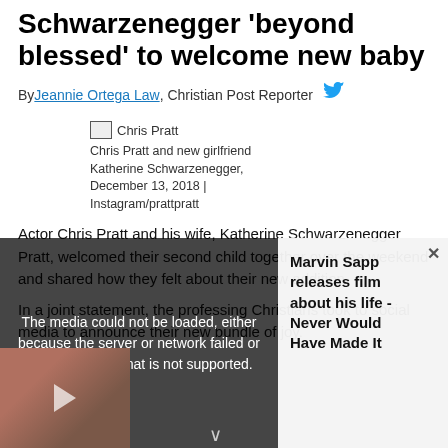Schwarzenegger 'beyond blessed' to welcome new baby
By Jeannie Ortega Law, Christian Post Reporter
[Figure (photo): Broken image placeholder for Chris Pratt photo]
Chris Pratt and new girlfriend Katherine Schwarzenegger, December 13, 2018 | Instagram/prattpratt
Actor Chris Pratt and his wife, Katherine Schwarzenegger Pratt, welcomed their second child together over the weekend and shared how they felt about their new addition.
In a joint statement, the professing Christians took to social media to announce their new bundle of joy.
[Figure (screenshot): Media player overlay showing error: 'The media could not be loaded, either because the server or network failed or because the format is not supported.' Right side shows promo for 'Marvin Sapp releases film about his life - Never Would Have Made It']